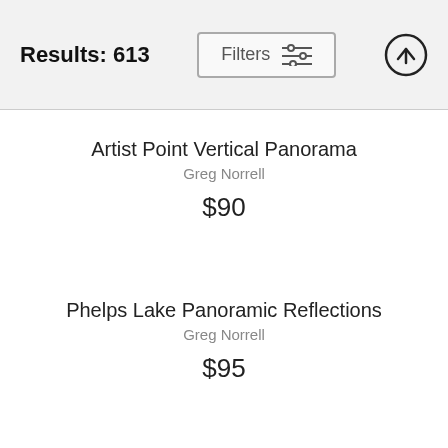Results: 613
Artist Point Vertical Panorama
Greg Norrell
$90
Phelps Lake Panoramic Reflections
Greg Norrell
$95
Yosemite Winter Reflections
Greg Norrell
$95